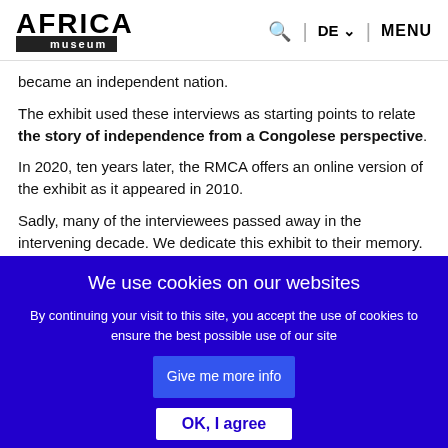AFRICA museum | DE | MENU
became an independent nation.
The exhibit used these interviews as starting points to relate the story of independence from a Congolese perspective.
In 2020, ten years later, the RMCA offers an online version of the exhibit as it appeared in 2010.
Sadly, many of the interviewees passed away in the intervening decade. We dedicate this exhibit to their memory. We also express our gratitude to all those who, in Congo, Belgium, and elsewhere, participated in the creation
We use cookies on our websites
By continuing your visit to this site, you accept the use of cookies to ensure the best possible use of our site
OK, I agree